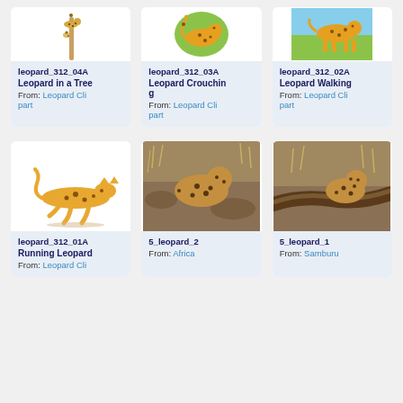[Figure (illustration): Leopard in a tree clipart illustration]
leopard_312_04A
Leopard in a Tree
From: Leopard Clipart
[Figure (illustration): Leopard crouching clipart illustration (cartoon style, green background)]
leopard_312_03A
Leopard Crouching
From: Leopard Clipart
[Figure (illustration): Leopard walking clipart illustration]
leopard_312_02A
Leopard Walking
From: Leopard Clipart
[Figure (illustration): Running leopard clipart illustration (side profile, orange spotted)]
leopard_312_01A
Running Leopard
From: Leopard Clipart
[Figure (photo): Photo of a leopard lying on rocky ground in Africa]
5_leopard_2
From: Africa
[Figure (photo): Photo of a leopard sitting near a log in Samburu]
5_leopard_1
From: Samburu